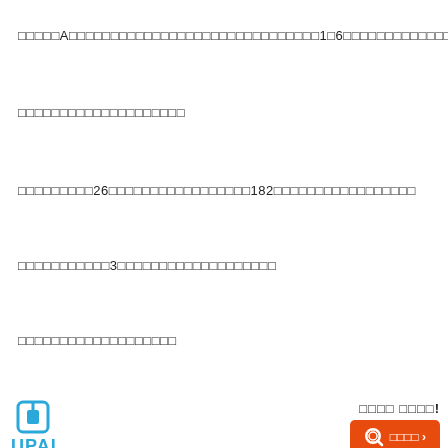□□□□□A□□□□□□□□□□□□□□□□□□□□□□□□□□□□□□1□6□□□□□□□□□□□□□□□□□□□□
□□□□□□□□□□□□□□□□□□□□
□□□□□□□□□26□□□□□□□□□□□□□□□□□182□□□□□□□□□□□□□□□□□
□□□□□□□□□□□3□□□□□□□□□□□□□□□□□□□
□□□□□□□□□□□□□□□□□□□
[Figure (screenshot): UPAL website advertisement banner with logo, search button, navigation bar, and game advertisement overlay]
□□□□ □□□□!